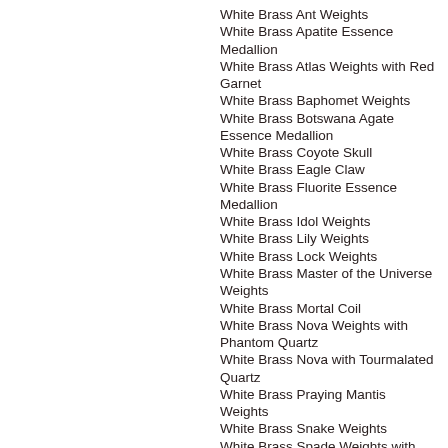White Brass Ant Weights
White Brass Apatite Essence Medallion
White Brass Atlas Weights with Red Garnet
White Brass Baphomet Weights
White Brass Botswana Agate Essence Medallion
White Brass Coyote Skull
White Brass Eagle Claw
White Brass Fluorite Essence Medallion
White Brass Idol Weights
White Brass Lily Weights
White Brass Lock Weights
White Brass Master of the Universe Weights
White Brass Mortal Coil
White Brass Nova Weights with Phantom Quartz
White Brass Nova with Tourmalated Quartz
White Brass Praying Mantis Weights
White Brass Snake Weights
White Brass Spade Weights with Cloudy Quartz Inlays
White Brass Spades (Large)